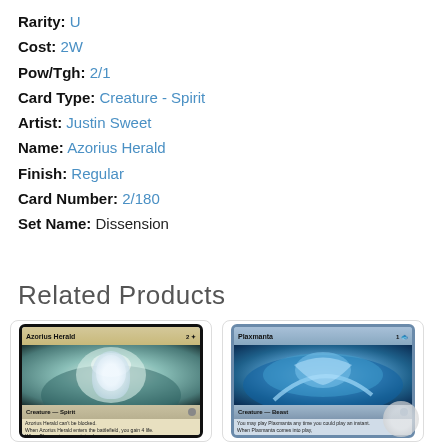Rarity: U
Cost: 2W
Pow/Tgh: 2/1
Card Type: Creature - Spirit
Artist: Justin Sweet
Name: Azorius Herald
Finish: Regular
Card Number: 2/180
Set Name: Dissension
Related Products
[Figure (photo): Trading card image for Azorius Herald - Creature Spirit from Magic: The Gathering]
[Figure (photo): Trading card image for Plaxmanta - Creature Beast from Magic: The Gathering]